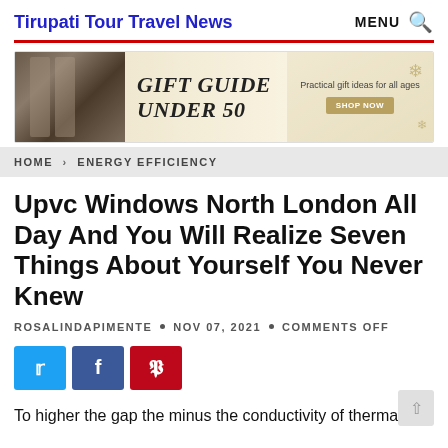Tirupati Tour Travel News — MENU 🔍
[Figure (other): Advertisement banner: Gift Guide Under 50 — Practical gift ideas for all ages, with shop now button and decorative snowflakes]
HOME > ENERGY EFFICIENCY
Upvc Windows North London All Day And You Will Realize Seven Things About Yourself You Never Knew
ROSALINDAPIMENTE • NOV 07, 2021 • COMMENTS OFF
[Figure (infographic): Social share buttons: Twitter (blue), Facebook (dark blue), Pinterest (red)]
To higher the gap the minus the conductivity of thermal